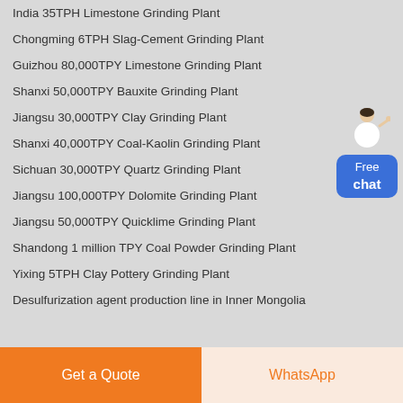India 35TPH Limestone Grinding Plant
Chongming 6TPH Slag-Cement Grinding Plant
Guizhou 80,000TPY Limestone Grinding Plant
Shanxi 50,000TPY Bauxite Grinding Plant
Jiangsu 30,000TPY Clay Grinding Plant
Shanxi 40,000TPY Coal-Kaolin Grinding Plant
Sichuan 30,000TPY Quartz Grinding Plant
Jiangsu 100,000TPY Dolomite Grinding Plant
Jiangsu 50,000TPY Quicklime Grinding Plant
Shandong 1 million TPY Coal Powder Grinding Plant
Yixing 5TPH Clay Pottery Grinding Plant
Desulfurization agent production line in Inner Mongolia
[Figure (illustration): Customer service representative figure with Free chat button widget]
Get a Quote
WhatsApp